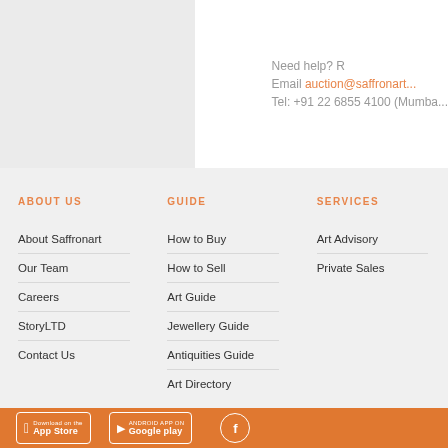Need help? R
Email auction@saffronart...
Tel: +91 22 6855 4100 (Mumba...
ABOUT US
About Saffronart
Our Team
Careers
StoryLTD
Contact Us
GUIDE
How to Buy
How to Sell
Art Guide
Jewellery Guide
Antiquities Guide
Art Directory
SERVICES
Art Advisory
Private Sales
Download on the App Store | Android App on Google play | Facebook